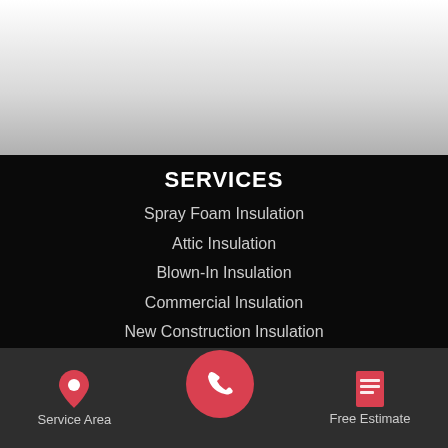[Figure (other): Light grey gradient banner at top of page]
SERVICES
Spray Foam Insulation
Attic Insulation
Blown-In Insulation
Commercial Insulation
New Construction Insulation
Insulation Services
Home Energy Audit
Service Area  [phone icon]  Free Estimate